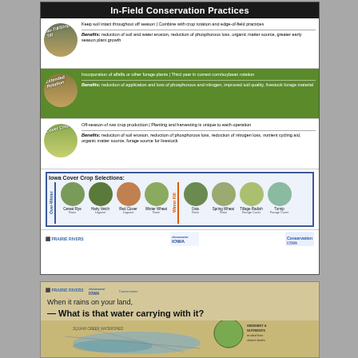In-Field Conservation Practices
[Figure (infographic): Infographic showing three in-field conservation practices: No-Till/Strip-Till, Extended Rotation, and Cover Crops, each with a circular photo and descriptive text including benefits.]
No-Till/Strip-Till: Keep soil intact throughout off season | Combine with crop rotation and edge-of-field practices. Benefits: reduction of soil and water erosion, reduction of phosphorous loss, organic matter source, greater early season plant growth
Extended Rotation: Incorporation of alfalfa or other forage plants | Third year in current corn/soybean rotation. Benefits: reduction of application and loss of phosphorous and nitrogen, improved soil quality, livestock forage material
Cover Crops: Off-season of row crop production | Planting and harvesting is unique to each operation. Benefits: reduction of soil erosion, reduction of phosphorous loss, reduction of nitrogen loss, nutrient cycling aid, organic matter source, forage source for livestock
[Figure (infographic): Iowa Cover Crop Selections box showing two categories: Over-Winter (Cereal Rye - Grain, Hairy Vetch - Legume, Red Clover - Legume, Winter Wheat - Grain) and Winter Kill (Oats - Grain, Spring Wheat - Grain, Tillage Radish - Forage Cover, Turnip - Forage Cover), each with a circular photo.]
[Figure (infographic): Bottom card: When it rains on your land, What is that water carrying with it? Shows Squaw Creek Watershed map with segment showing sediment and nutrients eroded from stream banks. Logos for Prairie Rivers and Cleanwater Iowa.]